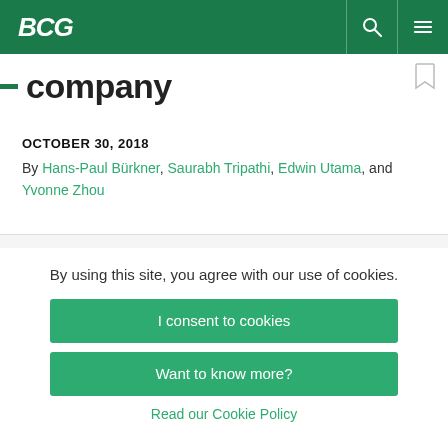BCG
company
OCTOBER 30, 2018
By Hans-Paul Bürkner, Saurabh Tripathi, Edwin Utama, and Yvonne Zhou
By using this site, you agree with our use of cookies.
I consent to cookies
Want to know more?
Read our Cookie Policy